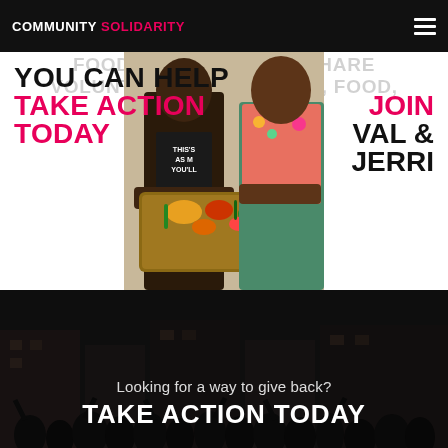COMMUNITY SOLIDARITY
[Figure (photo): Two people exchanging a box of produce/food, with overlaid text slogans about food rights and volunteering]
FOOD IS A RIGHT  SHARE
VOLUNTEER, END HUNGER, FOOD,
YOU CAN HELP  JOIN
TAKE ACTION  VAL &
TODAY  JERRI
[Figure (photo): Dark background with crowd of people, overlaid with call-to-action text]
Looking for a way to give back?
TAKE ACTION TODAY